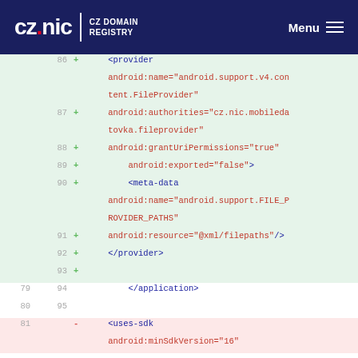CZ.NIC CZ DOMAIN REGISTRY | Menu
[Figure (screenshot): Code diff view showing XML Android manifest lines 86-95 (added, green background) and lines 79-81 (mixed), with line numbers and +/- diff markers. Added lines show provider XML element with attributes. Last rows show removed line with uses-sdk element.]